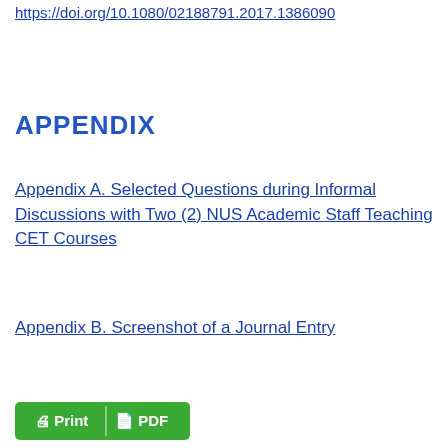https://doi.org/10.1080/02188791.2017.1386090
APPENDIX
Appendix A. Selected Questions during Informal Discussions with Two (2) NUS Academic Staff Teaching CET Courses
Appendix B. Screenshot of a Journal Entry
[Figure (other): Print and PDF buttons at the bottom of the page]